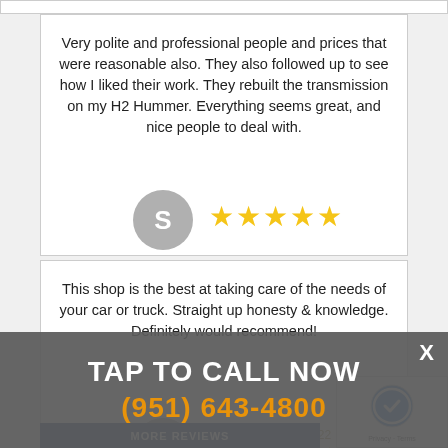Very polite and professional people and prices that were reasonable also. They also followed up to see how I liked their work. They rebuilt the transmission on my H2 Hummer. Everything seems great, and nice people to deal with.
[Figure (illustration): Gray circular avatar with letter S and five gold stars rating]
This shop is the best at taking care of the needs of your car or truck. Straight up honesty & knowledge. Definitely would recommend!
Colin Ryan 08/10/2022
[Figure (illustration): Gray circular avatar with letter C and five gold stars rating]
TAP TO CALL NOW
(951) 643-4800
MORE REVIEWS
[Figure (illustration): reCAPTCHA logo - Privacy Terms]